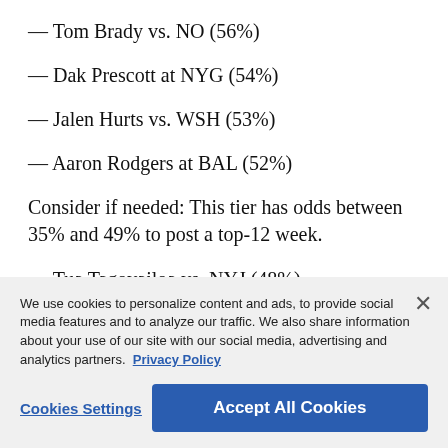— Tom Brady vs. NO (56%)
— Dak Prescott at NYG (54%)
— Jalen Hurts vs. WSH (53%)
— Aaron Rodgers at BAL (52%)
Consider if needed: This tier has odds between 35% and 49% to post a top-12 week.
— Tua Tagovailoa vs. NYJ (48%)
— Matthew Stafford vs. SEA (44%)
— Teddy Bridgewater at TEN (43%)
— Kirk Cousins at CHI (38%)
— Justin Fields vs. MIN (40%)
— Russell Wilson vs. LA (39%)
— Jimmy Garoppolo vs. ATL (37%)
Cookie overlay: We use cookies to personalize content and ads, to provide social media features and to analyze our traffic. We also share information about your use of our site with our social media, advertising and analytics partners. Privacy Policy